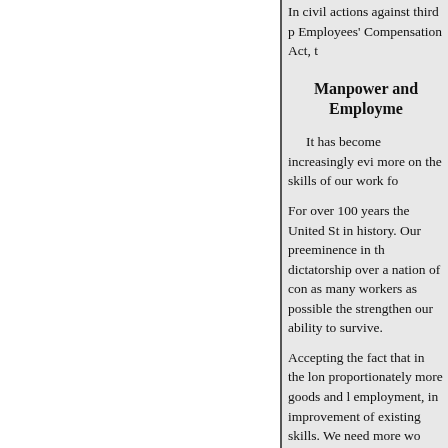In civil actions against third parties under the Federal Employees' Compensation Act, t
Manpower and Employment
It has become increasingly evident that our Nation must rely more on the skills of our work fo
For over 100 years the United States has led the world in history. Our preeminence in the face of a totalitarian dictatorship over a nation of considerably larger size requires that as many workers as possible the strengthen our ability to survive.
Accepting the fact that in the long run we will produce proportionately more goods and better goods through full employment, in improvement of our tools and in upgrading of existing skills. We need more wo workers. We must plan our manp
In the past we have too often t manpower planning for wasteful worker, the older worker, the wo whose skills are necessary to the